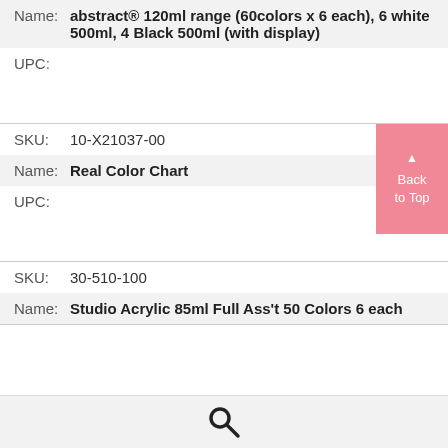Name: abstract® 120ml range (60colors x 6 each), 6 white 500ml, 4 Black 500ml (with display)
UPC:
SKU: 10-X21037-00
Name: Real Color Chart
UPC:
SKU: 30-510-100
Name: Studio Acrylic 85ml Full Ass't 50 Colors 6 each